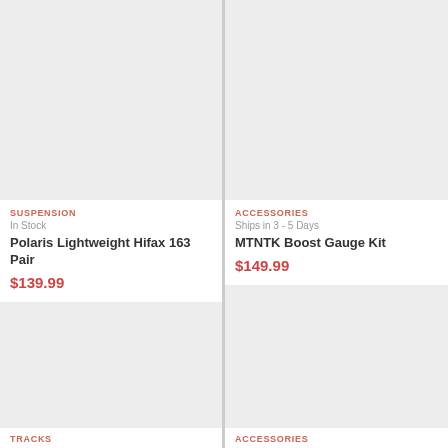[Figure (photo): Product image placeholder - light gray background, top-left cell]
SUSPENSION
In Stock
Polaris Lightweight Hifax 163 Pair
$139.99
[Figure (photo): Product image placeholder - light gray background, top-right cell]
ACCESSORIES
Ships in 3 - 5 Days
MTNTK Boost Gauge Kit
$149.99
[Figure (photo): Product image placeholder - light gray background, bottom-left cell]
TRACKS
[Figure (photo): Product image placeholder - light gray background, bottom-right cell]
ACCESSORIES